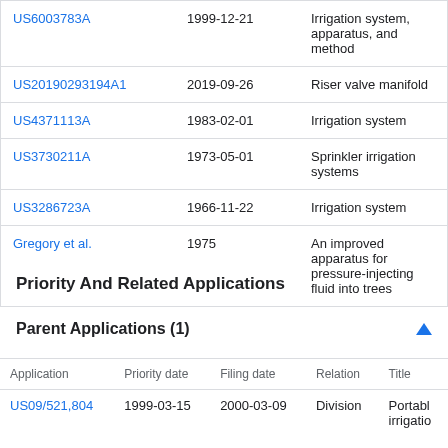| Patent/Reference | Date | Title |
| --- | --- | --- |
| US6003783A | 1999-12-21 | Irrigation system, apparatus, and method |
| US20190293194A1 | 2019-09-26 | Riser valve manifold |
| US4371113A | 1983-02-01 | Irrigation system |
| US3730211A | 1973-05-01 | Sprinkler irrigation systems |
| US3286723A | 1966-11-22 | Irrigation system |
| Gregory et al. | 1975 | An improved apparatus for pressure-injecting fluid into trees |
Priority And Related Applications
Parent Applications (1)
| Application | Priority date | Filing date | Relation | Title |
| --- | --- | --- | --- | --- |
| US09/521,804 | 1999-03-15 | 2000-03-09 | Division | Portable irrigatio... |